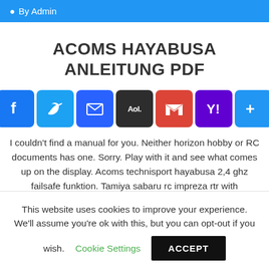By Admin
ACOMS HAYABUSA ANLEITUNG PDF
[Figure (infographic): Social share buttons: Facebook, Twitter, Email, AOL, Gmail, Yahoo, More]
I couldn't find a manual for you. Neither horizon hobby or RC documents has one. Sorry. Play with it and see what comes up on the display. Acoms technisport hayabusa 2,4 ghz failsafe funktion. Tamiya sabaru rc impreza rtr with
This website uses cookies to improve your experience. We'll assume you're ok with this, but you can opt-out if you wish. Cookie Settings ACCEPT